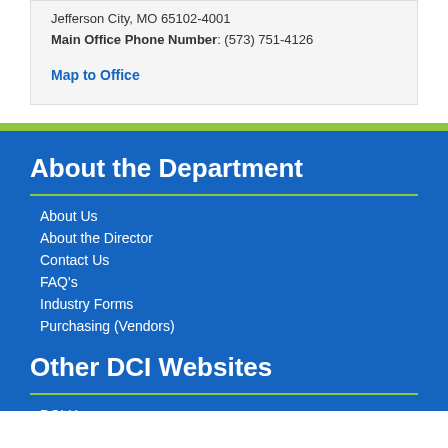Jefferson City, MO 65102-4001
Main Office Phone Number: (573) 751-4126
Map to Office
About the Department
About Us
About the Director
Contact Us
FAQ's
Industry Forms
Purchasing (Vendors)
Other DCI Websites
DCI Home
Finance
Credit Unions